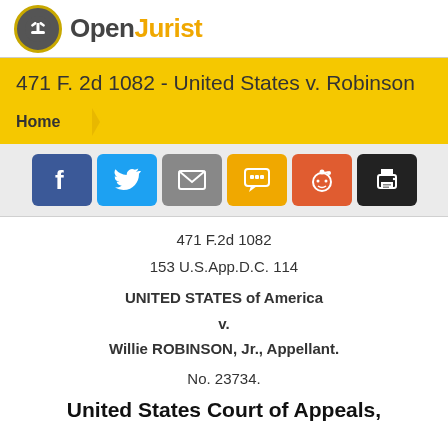[Figure (logo): OpenJurist logo with gavel icon in circular badge and text 'OpenJurist']
471 F. 2d 1082 - United States v. Robinson
Home
[Figure (infographic): Social sharing buttons: Facebook, Twitter, Email, SMS, Reddit, Print]
471 F.2d 1082
153 U.S.App.D.C. 114
UNITED STATES of America
v.
Willie ROBINSON, Jr., Appellant.
No. 23734.
United States Court of Appeals,